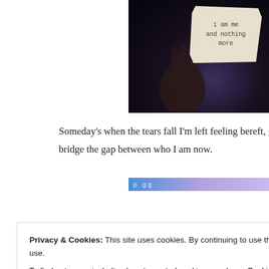[Figure (photo): A hand holding a torn piece of paper against a dark background. The paper note reads 'i am me and nothing more' written in handwritten text.]
Someday's when the tears fall I'm left feeling bereft, grieving fo... bridge the gap between who I am now.
[Figure (other): A blue-to-purple gradient divider bar with partially visible text.]
Privacy & Cookies: This site uses cookies. By continuing to use this website, you agree to their use.
To find out more, including how to control cookies, see here: Cookie Policy
Close and accept
A conversation I had last week brought home that others seem...